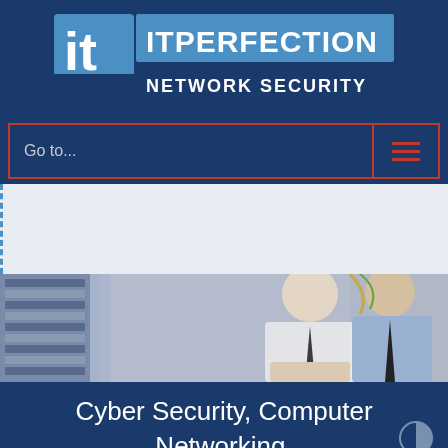[Figure (logo): IT Perfection Network Security logo with blue 'it' icon and text ITPERFECTION / NETWORK SECURITY on dark blue background]
Go to...
[Figure (photo): Two men in business attire looking at server rack equipment in a data center]
Cyber Security, Computer Networking, Security Training
Click Here!